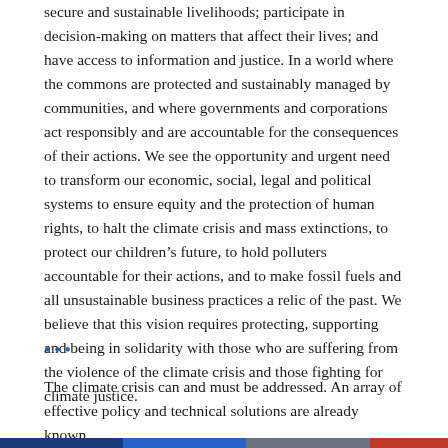secure and sustainable livelihoods; participate in decision-making on matters that affect their lives; and have access to information and justice. In a world where the commons are protected and sustainably managed by communities, and where governments and corporations act responsibly and are accountable for the consequences of their actions. We see the opportunity and urgent need to transform our economic, social, legal and political systems to ensure equity and the protection of human rights, to halt the climate crisis and mass extinctions, to protect our children's future, to hold polluters accountable for their actions, and to make fossil fuels and all unsustainable business practices a relic of the past. We believe that this vision requires protecting, supporting and being in solidarity with those who are suffering from the violence of the climate crisis and those fighting for climate justice.
•••
The climate crisis can and must be addressed. An array of effective policy and technical solutions are already known,